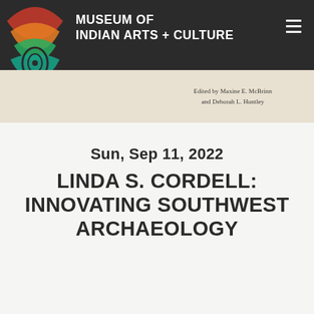[Figure (logo): MIAC (Museum of Indian Arts + Culture) colorful logo with geometric indigenous design in red, orange, green, teal, and yellow on dark background with 'miac' text]
MUSEUM OF INDIAN ARTS + CULTURE
Edited by Maxine E. McBrinn and Deborah L. Huntley
Sun, Sep 11, 2022
LINDA S. CORDELL: INNOVATING SOUTHWEST ARCHAEOLOGY